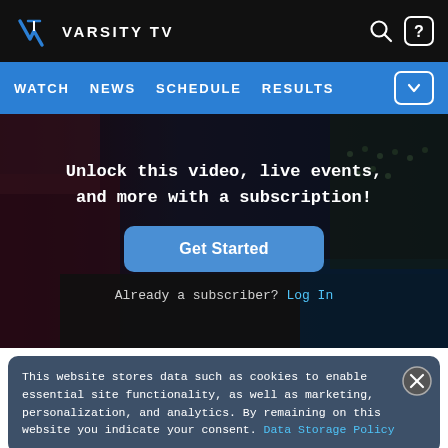Varsity TV
WATCH  NEWS  SCHEDULE  RESULTS
[Figure (screenshot): Sports arena/cheerleading event video thumbnail with dark overlay, showing gymnasium floor and bleachers with spectators.]
Unlock this video, live events, and more with a subscription!
Get Started
Already a subscriber? Log In
This website stores data such as cookies to enable essential site functionality, as well as marketing, personalization, and analytics. By remaining on this website you indicate your consent. Data Storage Policy